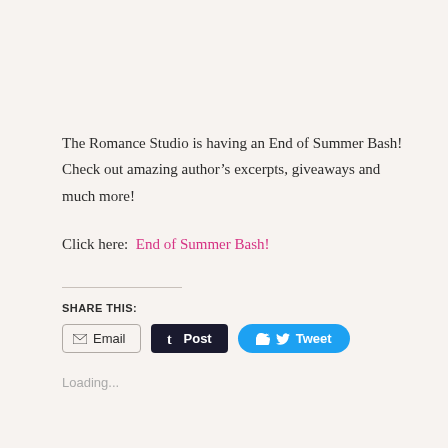The Romance Studio is having an End of Summer Bash! Check out amazing author’s excerpts, giveaways and much more!
Click here:  End of Summer Bash!
Share This:
[Figure (infographic): Social sharing buttons: Email, Post (Tumblr), Tweet (Twitter)]
Loading...